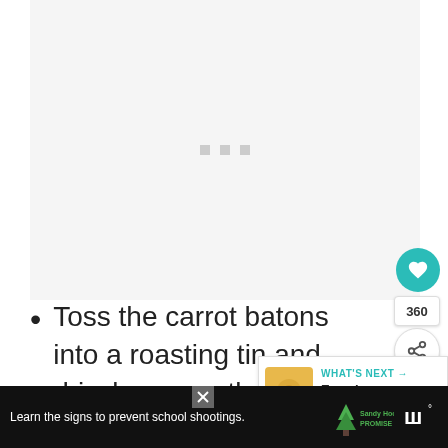[Figure (photo): Light gray placeholder image area with three small gray loading squares in the center]
Toss the carrot batons into a roasting tin and drizzle over a tbs of c... sprinkle with sea salt, black pepper
[Figure (screenshot): What's Next panel showing Easy hummus recipe with thumbnail]
[Figure (infographic): Advertisement banner: Learn the signs to prevent school shootings. Sandy Hook Promise logo.]